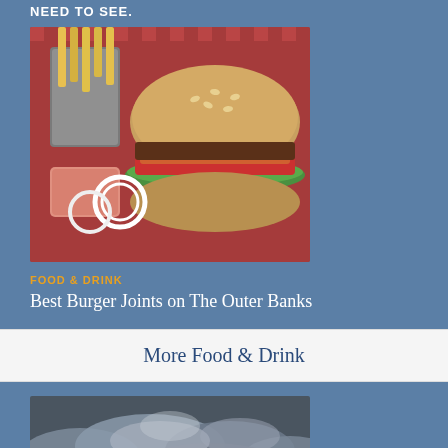NEED to see.
[Figure (photo): A burger with sesame seed bun, lettuce, tomato and sauce, served with french fries in a metal cup and a sauce on the side, on a red checkered tablecloth]
FOOD & DRINK
Best Burger Joints on The Outer Banks
More Food & Drink
[Figure (photo): A dramatic black and white photo of stormy cloudy skies]